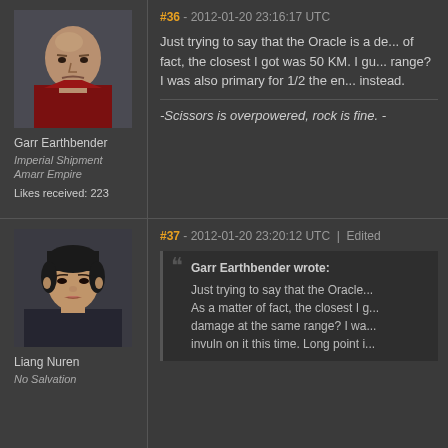#36 - 2012-01-20 23:16:17 UTC
Just trying to say that the Oracle is a de... of fact, the closest I got was 50 KM. I gu... range? I was also primary for 1/2 the en... instead.
-Scissors is overpowered, rock is fine. -
[Figure (photo): Avatar of Garr Earthbender - bald older male character in red uniform from a sci-fi game]
Garr Earthbender
Imperial Shipment
Amarr Empire
Likes received: 223
#37 - 2012-01-20 23:20:12 UTC | Edited
[Figure (photo): Avatar of Liang Nuren - female character with short dark hair from a sci-fi game]
Liang Nuren
No Salvation
Garr Earthbender wrote:
Just trying to say that the Oracle... As a matter of fact, the closest I g... damage at the same range? I wa... invuln on it this time. Long point i...